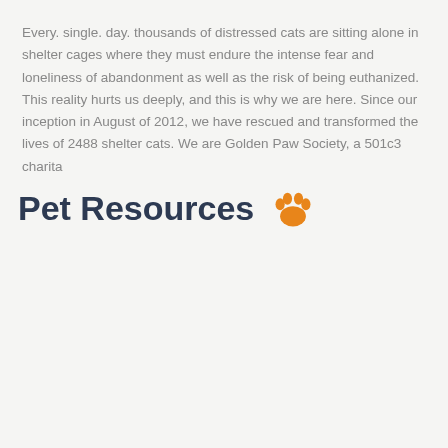Every. single. day. thousands of distressed cats are sitting alone in shelter cages where they must endure the intense fear and loneliness of abandonment as well as the risk of being euthanized. This reality hurts us deeply, and this is why we are here. Since our inception in August of 2012, we have rescued and transformed the lives of 2488 shelter cats. We are Golden Paw Society, a 501c3 charita
Pet Resources 🐾